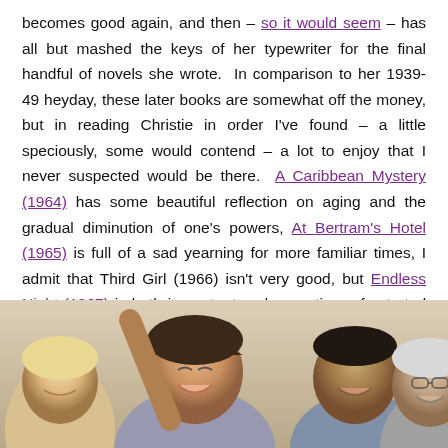becomes good again, and then – so it would seem – has all but mashed the keys of her typewriter for the final handful of novels she wrote. In comparison to her 1939-49 heyday, these later books are somewhat off the money, but in reading Christie in order I've found – a little speciously, some would contend – a lot to enjoy that I never suspected would be there. A Caribbean Mystery (1964) has some beautiful reflection on aging and the gradual diminution of one's powers, At Bertram's Hotel (1965) is full of a sad yearning for more familiar times, I admit that Third Girl (1966) isn't very good, but Endless Night (1967) is both in content and execution a frustrated examination of the appeal and folly of youth.
[Figure (photo): Group of happy laughing people of different ages including young adults and an older man with glasses, shown from roughly shoulder level up, cropped at bottom of page.]